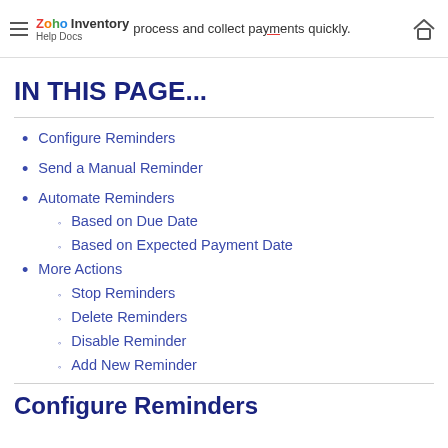Zoho Inventory Help Docs — process and collect payments quickly.
IN THIS PAGE...
Configure Reminders
Send a Manual Reminder
Automate Reminders
Based on Due Date
Based on Expected Payment Date
More Actions
Stop Reminders
Delete Reminders
Disable Reminder
Add New Reminder
Configure Reminders